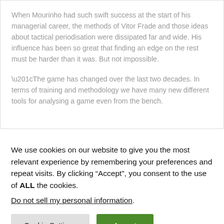When Mourinho had such swift success at the start of his managerial career, the methods of Vitor Frade and those ideas about tactical periodisation were dissipated far and wide. His influence has been so great that finding an edge on the rest must be harder than it was. But not impossible.
“The game has changed over the last two decades. In terms of training and methodology we have many new different tools for analysing a game even from the bench.
We use cookies on our website to give you the most relevant experience by remembering your preferences and repeat visits. By clicking “Accept”, you consent to the use of ALL the cookies.
Do not sell my personal information.
Cookie Settings   Accept